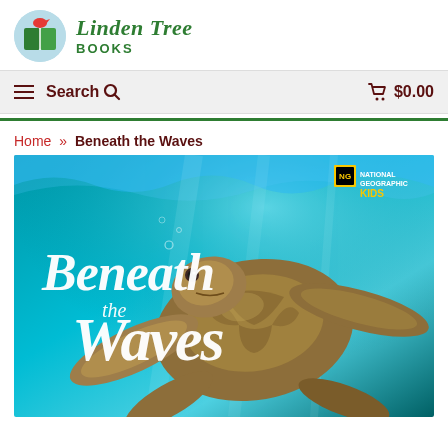[Figure (logo): Linden Tree Books logo: circular light blue badge with green book icon and red bird, next to text 'Linden Tree BOOKS' in green]
≡ Search 🔍  🛒 $0.00
Home » Beneath the Waves
[Figure (photo): Book cover of 'Beneath the Waves' — National Geographic Kids edition. A sea turtle swimming underwater against a turquoise ocean background, with white script title text 'Beneath the Waves' and the National Geographic yellow border logo in the upper right corner.]